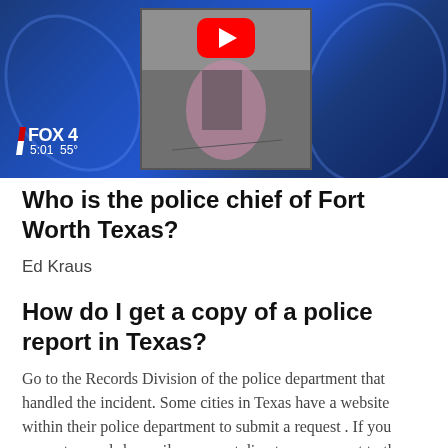[Figure (screenshot): FOX 4 news video thumbnail showing a woman on floor with YouTube play button overlay, blue gradient background with decorative swirls, FOX 4 logo and time 5:01 55° in bottom left]
Who is the police chief of Fort Worth Texas?
Ed Kraus
How do I get a copy of a police report in Texas?
Go to the Records Division of the police department that handled the incident. Some cities in Texas have a website within their police department to submit a request . If you request records by mail, you must direct your request to the proper department, with a mailing information contained in